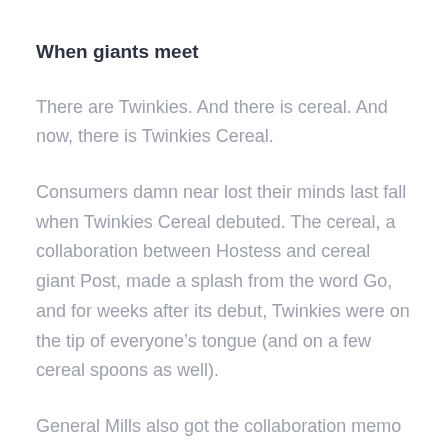When giants meet
There are Twinkies. And there is cereal. And now, there is Twinkies Cereal.
Consumers damn near lost their minds last fall when Twinkies Cereal debuted. The cereal, a collaboration between Hostess and cereal giant Post, made a splash from the word Go, and for weeks after its debut, Twinkies were on the tip of everyone’s tongue (and on a few cereal spoons as well).
General Mills also got the collaboration memo and launched cereals with Hershey’s Kisses and Jolly Ranchers for two new cereals that sound like they